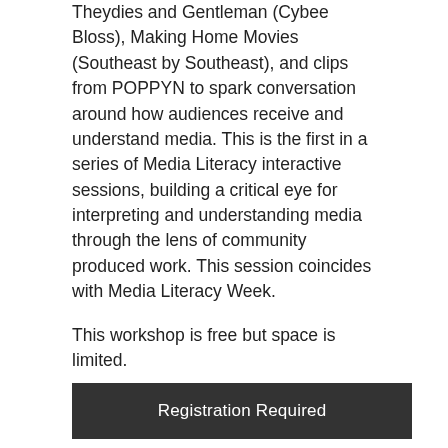Theydies and Gentleman (Cybee Bloss), Making Home Movies (Southeast by Southeast), and clips from POPPYN to spark conversation around how audiences receive and understand media. This is the first in a series of Media Literacy interactive sessions, building a critical eye for interpreting and understanding media through the lens of community produced work. This session coincides with Media Literacy Week.
This workshop is free but space is limited.
Registration Required
Media Literacy and the Future of Justice - FREE
Wednesday, October 28  3:00 - 5:00 pm
This interactive workshop, presented by the World